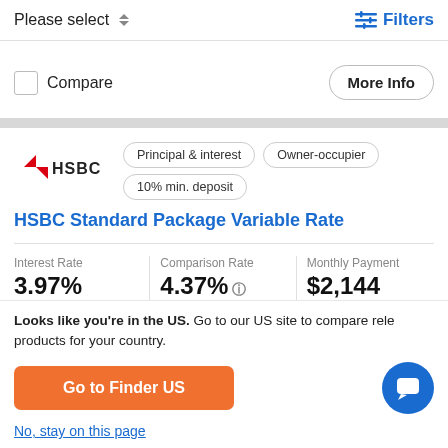Please select   Filters
Compare
More Info
[Figure (logo): HSBC red hexagon logo with HSBC text]
Principal & interest   Owner-occupier   10% min. deposit
HSBC Standard Package Variable Rate
| Interest Rate | Comparison Rate | Monthly Payment |
| --- | --- | --- |
| 3.97% | 4.37% | $2,144 |
Looks like you're in the US. Go to our US site to compare rele products for your country.
Go to Finder US
No, stay on this page